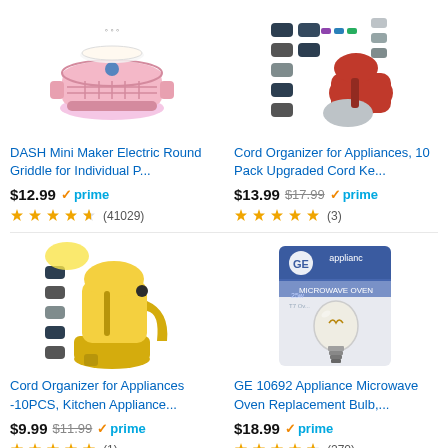[Figure (photo): DASH Mini Maker Electric Round Griddle - pink product image]
DASH Mini Maker Electric Round Griddle for Individual P...
$12.99 prime ★★★★½ (41029)
[Figure (photo): Cord Organizer for Appliances 10 Pack - product image with colorful cord keepers]
Cord Organizer for Appliances, 10 Pack Upgraded Cord Ke...
$13.99 $17.99 prime ★★★★★ (3)
[Figure (photo): Cord Organizer for Appliances 10PCS with yellow KitchenAid mixer]
Cord Organizer for Appliances -10PCS, Kitchen Appliance...
$9.99 $11.99 prime ★★★★★ (1)
[Figure (photo): GE 10692 Appliance Microwave Oven Replacement Bulb in packaging]
GE 10692 Appliance Microwave Oven Replacement Bulb,...
$18.99 prime ★★★★½ (270)
Ads by Amazon
Last Minute Gift Ideas